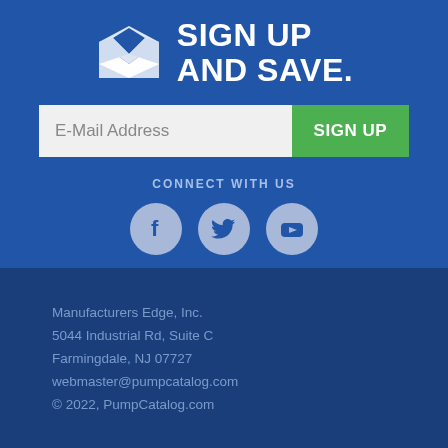[Figure (illustration): White envelope icon with open flap and letter inside]
SIGN UP AND SAVE.
[Figure (infographic): Email signup form with E-Mail Address input field and green SIGN UP button]
CONNECT WITH US
[Figure (infographic): Three social media icons: Facebook, Twitter, YouTube in light blue circles]
Manufacturers Edge, Inc.
5044 Industrial Rd, Suite C
Farmingdale, NJ 07727
webmaster@pumpcatalog.com
© 2022, PumpCatalog.com